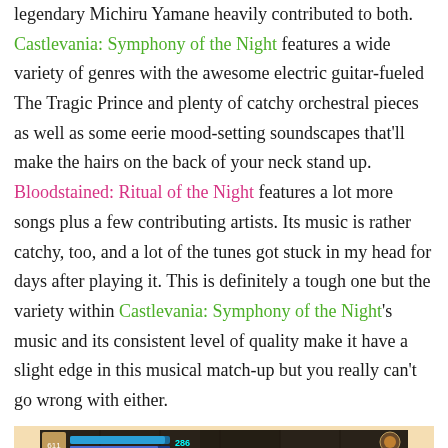legendary Michiru Yamane heavily contributed to both. Castlevania: Symphony of the Night features a wide variety of genres with the awesome electric guitar-fueled The Tragic Prince and plenty of catchy orchestral pieces as well as some eerie mood-setting soundscapes that'll make the hairs on the back of your neck stand up. Bloodstained: Ritual of the Night features a lot more songs plus a few contributing artists. Its music is rather catchy, too, and a lot of the tunes got stuck in my head for days after playing it. This is definitely a tough one but the variety within Castlevania: Symphony of the Night's music and its consistent level of quality make it have a slight edge in this musical match-up but you really can't go wrong with either.
[Figure (screenshot): Screenshot of Castlevania: Symphony of the Night gameplay showing a character battling enemies in a castle environment with HUD elements visible at the top.]